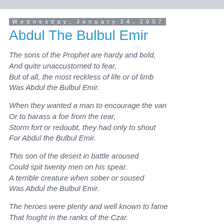Wednesday, January 24, 2007
Abdul The Bulbul Emir
The sons of the Prophet are hardy and bold,
And quite unaccustomed to fear,
But of all, the most reckless of life or of limb
Was Abdul the Bulbul Emir.
When they wanted a man to encourage the van
Or to harass a foe from the rear,
Storm fort or redoubt, they had only to shout
For Abdul the Bulbul Emir.
This son of the desert in battle aroused
Could spit twenty men on his spear.
A terrible creature when sober or soused
Was Abdul the Bulbul Emir.
The heroes were plenty and well known to fame
That fought in the ranks of the Czar.